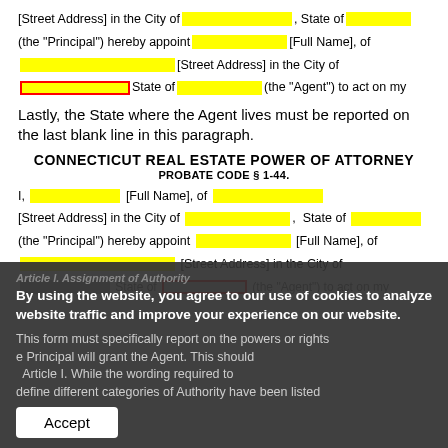[Street Address] in the City of ___, State of ___
(the "Principal") hereby appoint ___ [Full Name], of
___ [Street Address] in the City of
___ State of ___ (the "Agent") to act on my
Lastly, the State where the Agent lives must be reported on the last blank line in this paragraph.
CONNECTICUT REAL ESTATE POWER OF ATTORNEY
PROBATE CODE § 1-44.
I, ___ [Full Name], of ___
[Street Address] in the City of ___, State of ___
(the "Principal") hereby appoint ___ [Full Name], of
___ [Street Address] in the City of
___ State of ___ (the "Agent") to act on my
By using the website, you agree to our use of cookies to analyze website traffic and improve your experience on our website.
Article I. Assignment of Authority
This form must specifically report on the powers or rights the Principal will grant the Agent. This should Article I. While the wording required to define different categories of Authority have been listed
Accept